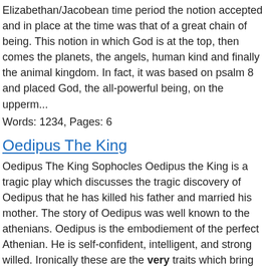Elizabethan/Jacobean time period the notion accepted and in place at the time was that of a great chain of being. This notion in which God is at the top, then comes the planets, the angels, human kind and finally the animal kingdom. In fact, it was based on psalm 8 and placed God, the all-powerful being, on the upperm...
Words: 1234, Pages: 6
Oedipus The King
Oedipus The King Sophocles Oedipus the King is a tragic play which discusses the tragic discovery of Oedipus that he has killed his father and married his mother. The story of Oedipus was well known to the athenians. Oedipus is the embodiement of the perfect Athenian. He is self-confident, intelligent, and strong willed. Ironically these are the very traits which bring about his tragic discovery. Oedipus gained the rule of Thebes